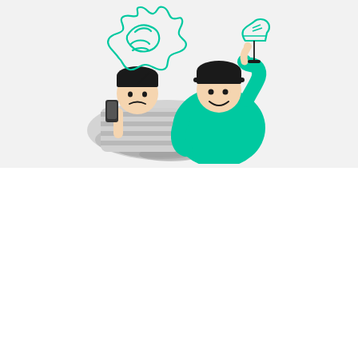[Figure (illustration): Two illustrated figures: on the left, a confused-looking person in a striped grey shirt holding a phone, with a tangled scribble cloud above their head; on the right, a confident person in a teal/green sweater pointing upward with one finger, with a shoe icon above them on a pin/marker. The background of the top half is light grey.]